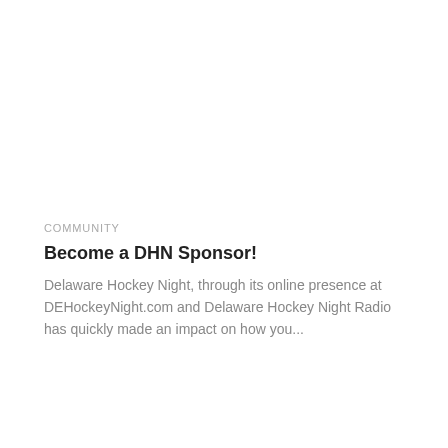COMMUNITY
Become a DHN Sponsor!
Delaware Hockey Night, through its online presence at DEHockeyNight.com and Delaware Hockey Night Radio has quickly made an impact on how you...